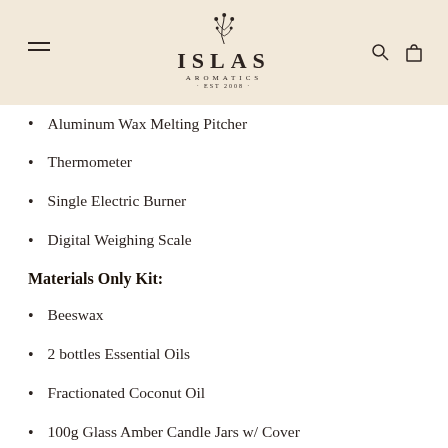ISLAS AROMATICS EST 2008
Aluminum Wax Melting Pitcher
Thermometer
Single Electric Burner
Digital Weighing Scale
Materials Only Kit:
Beeswax
2 bottles Essential Oils
Fractionated Coconut Oil
100g Glass Amber Candle Jars w/ Cover